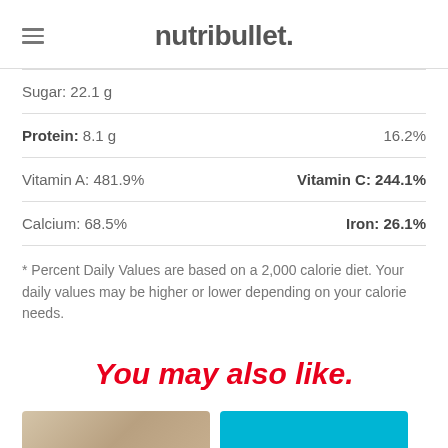nutribullet.
Sugar: 22.1 g
Protein: 8.1 g   16.2%
Vitamin A: 481.9%   Vitamin C: 244.1%
Calcium: 68.5%   Iron: 26.1%
* Percent Daily Values are based on a 2,000 calorie diet. Your daily values may be higher or lower depending on your calorie needs.
You may also like.
[Figure (photo): Two thumbnail images below 'You may also like.' heading — left is a food photo with warm brown tones, right is a solid cyan/teal colored block.]